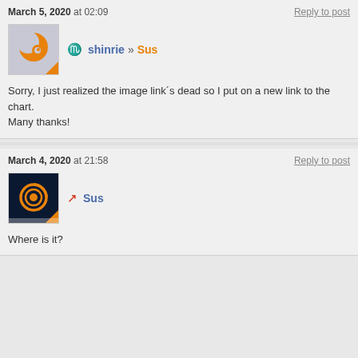March 5, 2020 at 02:09
Reply to post
[Figure (illustration): Avatar for shinrie user: grey background with orange crescent moon and circular eye-like design, orange corner triangle]
shinrie » Sus
Sorry, I just realized the image link´s dead so I put on a new link to the chart. Many thanks!
March 4, 2020 at 21:58
Reply to post
[Figure (illustration): Avatar for Sus user: dark navy background with orange spiral/eye design, orange corner triangle]
Sus
Where is it?